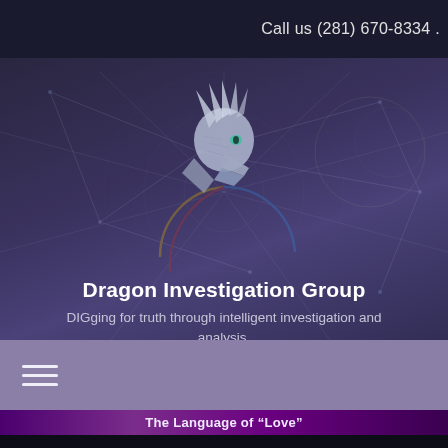Call us (281) 670-8334 .
[Figure (logo): Dragon Investigation Group logo — a silver/blue dragon head facing right, with decorative geometric network lines and circular arcs in yellow, red, and blue in the background]
Dragon Investigation Group
DIGging for truth through intelligent investigation and analysis.
[Figure (other): Hamburger menu icon (three horizontal lines) on a muted purple navigation bar]
The Language of “Love”